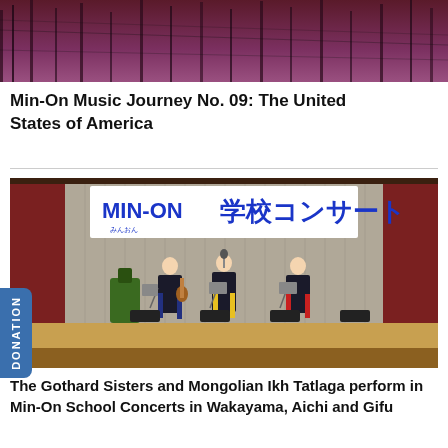[Figure (photo): Partial view of a reddish-purple forested or decorative background image, top portion of article image]
Min-On Music Journey No. 09: The United States of America
[Figure (photo): Three women performing on a school concert stage with a banner reading 'MIN-ON 学校コンサート' in Japanese. The performers are dressed casually, one playing guitar. The stage has curtains and lighting.]
The Gothard Sisters and Mongolian Ikh Tatlaga perform in Min-On School Concerts in Wakayama, Aichi and Gifu